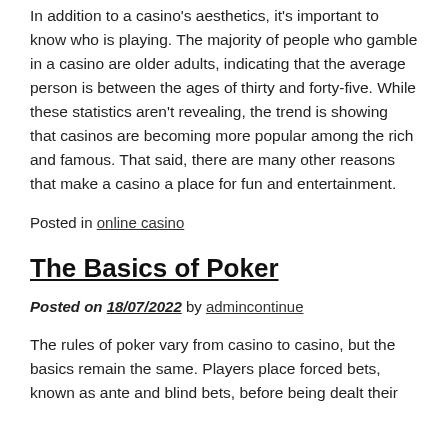In addition to a casino's aesthetics, it's important to know who is playing. The majority of people who gamble in a casino are older adults, indicating that the average person is between the ages of thirty and forty-five. While these statistics aren't revealing, the trend is showing that casinos are becoming more popular among the rich and famous. That said, there are many other reasons that make a casino a place for fun and entertainment.
Posted in online casino
The Basics of Poker
Posted on 18/07/2022 by admincontinue
The rules of poker vary from casino to casino, but the basics remain the same. Players place forced bets, known as ante and blind bets, before being dealt their